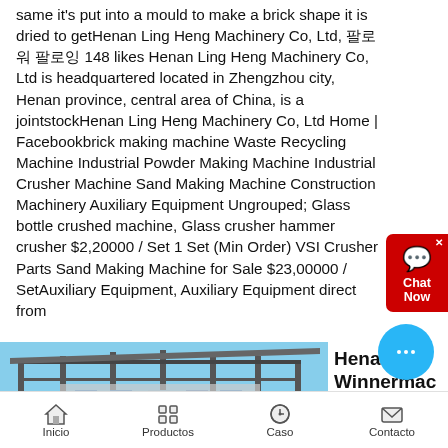same it's put into a mould to make a brick shape it is dried to getHenan Ling Heng Machinery Co, Ltd, 팔로워 팔로잉 148 likes Henan Ling Heng Machinery Co, Ltd is headquartered located in Zhengzhou city, Henan province, central area of China, is a jointstockHenan Ling Heng Machinery Co, Ltd Home | Facebookbrick making machine Waste Recycling Machine Industrial Powder Making Machine Industrial Crusher Machine Sand Making Machine Construction Machinery Auxiliary Equipment Ungrouped; Glass bottle crushed machine, Glass crusher hammer crusher $2,20000 / Set 1 Set (Min Order) VSI Crusher Parts Sand Making Machine for Sale $23,00000 / SetAuxiliary Equipment, Auxiliary Equipment direct from
[Figure (screenshot): Chat Now widget button in red on right side of screen]
[Figure (photo): Photo of a large industrial steel-frame structure building under a blue sky]
Henan Winnermac Heavy Industrial
Inicio  Productos  Caso  Contacto